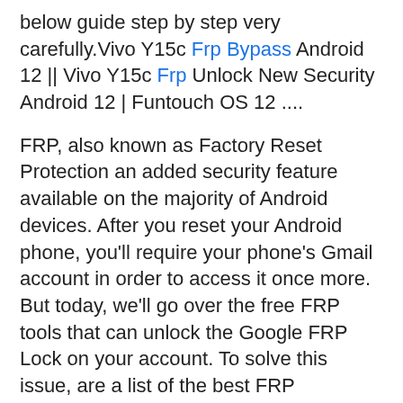below guide step by step very carefully.Vivo Y15c Frp Bypass Android 12 || Vivo Y15c Frp Unlock New Security Android 12 | Funtouch OS 12 ....
FRP, also known as Factory Reset Protection an added security feature available on the majority of Android devices. After you reset your Android phone, you'll require your phone's Gmail account in order to access it once more. But today, we'll go over the free FRP tools that can unlock the Google FRP Lock on your account. To solve this issue, are a list of the best FRP bypassing tools that are free.
Vivo Y15c Frp Bypass Android 12 || Vivo Y15c Frp Unlock...